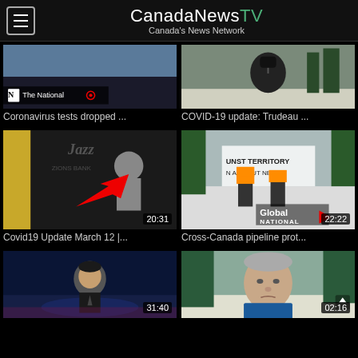[Figure (screenshot): CanadaNewsTV app header with hamburger menu icon and brand name]
[Figure (screenshot): Video thumbnail: people on a ship deck, The National CBC logo, no duration shown]
[Figure (screenshot): Video thumbnail: person at podium with microphone outdoors in winter, no duration shown]
Coronavirus tests dropped ...
COVID-19 update: Trudeau ...
[Figure (screenshot): Video thumbnail: basketball player, Outer Light overlay, red arrow, Jazz arena, duration 20:31]
[Figure (screenshot): Video thumbnail: protesters at blockade in snow, Global National logo, duration 22:22]
Covid19 Update March 12 |...
Cross-Canada pipeline prot...
[Figure (screenshot): Video thumbnail: man in suit on blue-lit stage, duration 31:40]
[Figure (screenshot): Video thumbnail: older man outdoors in winter, duration 02:16]